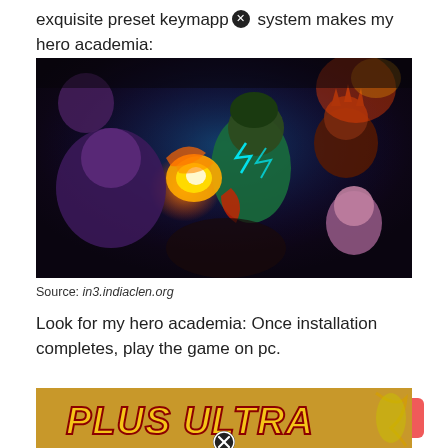exquisite preset keymapp[x] system makes my hero academia:
[Figure (illustration): My Hero Academia anime artwork showing Deku (Izuku Midoriya) in green suit with glowing fist surrounded by other characters including villains and heroes, with fire and lightning effects]
Source: in3.indiaclen.org
Look for my hero academia: Once installation completes, play the game on pc.
[Figure (illustration): Bottom portion of an image showing 'PLUS ULTRA' text in bold yellow stylized font with anime character visible on the right side]